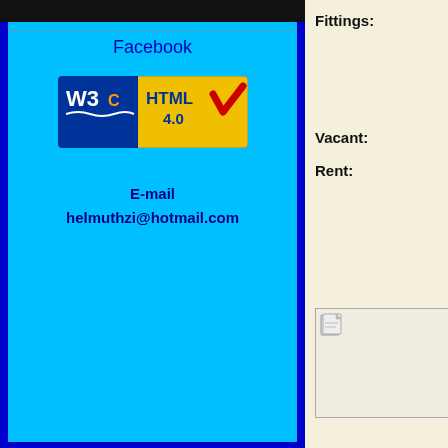Facebook
[Figure (logo): W3C HTML 4.0 validation badge with blue W3C logo, yellow background, HTML 4.0 text and red checkmark]
E-mail
helmuthzi@hotmail.com
Fittings:
Vacant:
Rent:
[Figure (photo): Broken image placeholder in bottom right of cream panel]